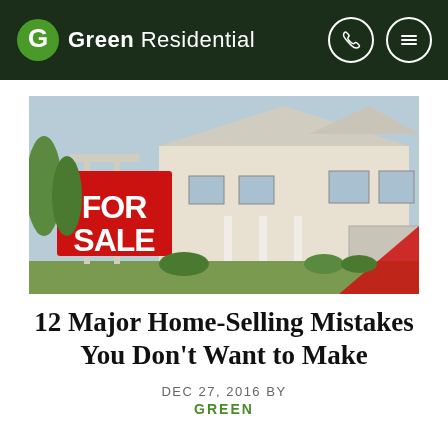Green Residential
[Figure (photo): Photo of a house with a red FOR SALE sign in front, suburban home with white siding and front porch, with a decorative red diagonal stripe in lower right corner]
12 Major Home-Selling Mistakes You Don't Want to Make
DEC 27, 2016 BY
GREEN